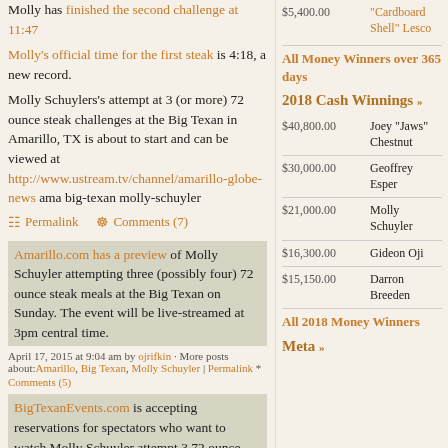Molly has finished the second challenge at 11:47
Molly's official time for the first steak is 4:18, a new record.
Molly Schuylers's attempt at 3 (or more) 72 ounce steak challenges at the Big Texan in Amarillo, TX is about to start and can be viewed at http://www.ustream.tv/channel/amarillo-globe-news ama big-texan molly-schuyler
Permalink | Comments (7)
Amarillo.com has a preview of Molly Schuyler attempting three (possibly four) 72 ounce steak meals at the Big Texan on Sunday. The event will be live-streamed at 3pm central time.
April 17, 2015 at 9:04 am by ojrifkin · More posts about: Amarillo, Big Texan, Molly Schuyler | Permalink * Comments (5)
BigTexanEvents.com is accepting reservations for spectators who want to watch Molly Schuyler attempt 3 72 ounce steak challenges on April 19 in Amarillo, TX
$5,400.00
"Cardboard Shell" Lesco
All Money Winners over 365 days
2018 Cash Winnings
| Amount | Name |
| --- | --- |
| $40,800.00 | Joey "Jaws" Chestnut |
| $30,000.00 | Geoffrey Esper |
| $21,000.00 | Molly Schuyler |
| $16,300.00 | Gideon Oji |
| $15,150.00 | Darron Breeden |
All 2018 Money Winners
Meta »